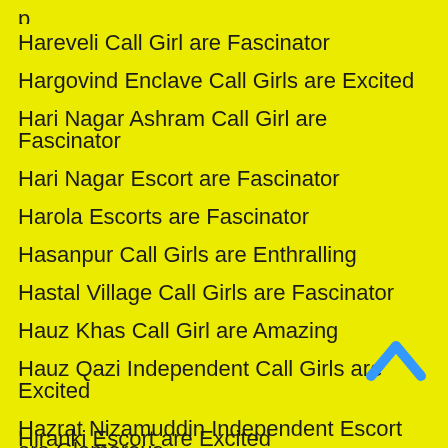Hareveli Call Girl are Fascinator
Hargovind Enclave Call Girls are Excited
Hari Nagar Ashram Call Girl are Fascinator
Hari Nagar Escort are Fascinator
Harola Escorts are Fascinator
Hasanpur Call Girls are Enthralling
Hastal Village Call Girls are Fascinator
Hauz Khas Call Girl are Amazing
Hauz Qazi Independent Call Girls are Excited
Hazrat Nizamuddin Independent Escort are Glamorous
Himmatpuri Independent Escort are Enthralling
Hiran Kudna Escorts are Glamorous
Hiranki Escort are Excited